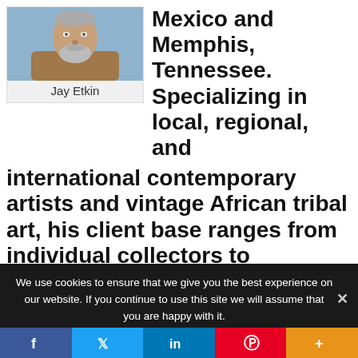[Figure (photo): Headshot photo of Jay Etkin, a man with a grey beard wearing a brown jacket, with a light blue background.]
Jay Etkin
Mexico and Memphis, Tennessee. Specializing in local, regional, and international contemporary artists and vintage African tribal art, his client base ranges from individual collectors to corporations.
We use cookies to ensure that we give you the best experience on our website. If you continue to use this site we will assume that you are happy with it.